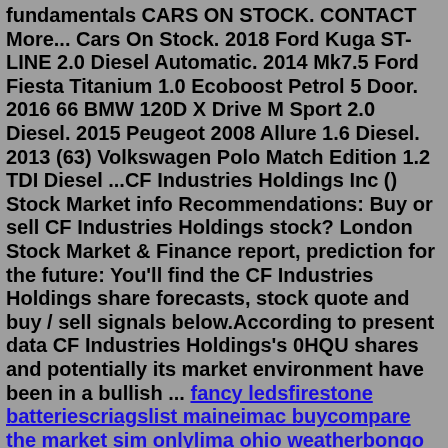fundamentals CARS ON STOCK. CONTACT More... Cars On Stock. 2018 Ford Kuga ST-LINE 2.0 Diesel Automatic. 2014 Mk7.5 Ford Fiesta Titanium 1.0 Ecoboost Petrol 5 Door. 2016 66 BMW 120D X Drive M Sport 2.0 Diesel. 2015 Peugeot 2008 Allure 1.6 Diesel. 2013 (63) Volkswagen Polo Match Edition 1.2 TDI Diesel ...CF Industries Holdings Inc () Stock Market info Recommendations: Buy or sell CF Industries Holdings stock? London Stock Market & Finance report, prediction for the future: You'll find the CF Industries Holdings share forecasts, stock quote and buy / sell signals below.According to present data CF Industries Holdings's 0HQU shares and potentially its market environment have been in a bullish ... fancy ledsfirestone batteriescriagslist maineimac buycompare the market sim onlylima ohio weatherbongo drums for saleblack owned lawn service near metelstra thanks moviesryzen 5 3400leolist datingweather tek mat xo